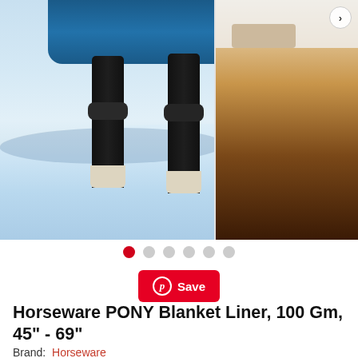[Figure (photo): Product image carousel showing a horse wearing a blue blanket liner standing in snow. Horse legs and hooves visible with snowy ground. A thumbnail of another horse image visible on the right side. Navigation arrow visible top right.]
[Figure (infographic): Carousel dot indicators: 6 dots, first one is red (active), remaining 5 are grey]
Save
Horseware PONY Blanket Liner, 100 Gm, 45" - 69"
Brand: Horseware